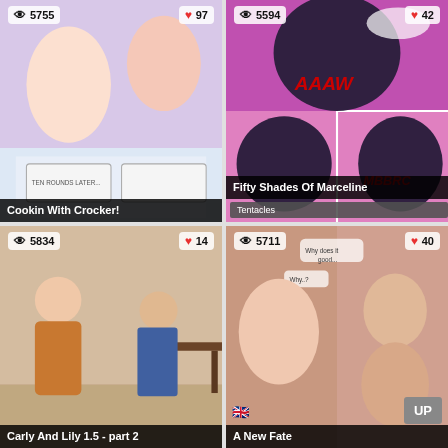[Figure (illustration): Anime/cartoon style adult comic thumbnail - Cookin With Crocker! Views: 5755, Likes: 97]
[Figure (illustration): Anime/cartoon style adult comic thumbnail - Fifty Shades Of Marceline, tag: Tentacles. Views: 5594, Likes: 42]
[Figure (illustration): 3D rendered adult comic thumbnail - Carly And Lily 1.5 - part 2. Views: 5834, Likes: 14]
[Figure (illustration): 3D rendered adult comic thumbnail - A New Fate. Views: 5711, Likes: 40]